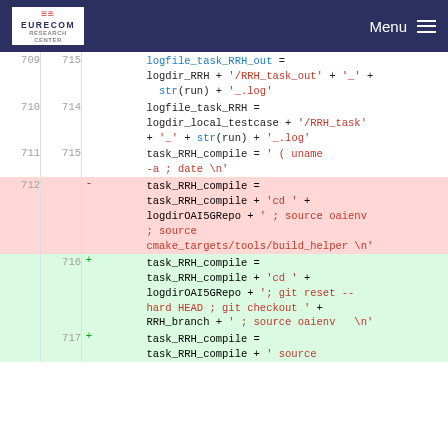EURECOM | Menu
Code diff showing modifications to task_RRH_compile variable assignments in a Python script, lines 709-717
[Figure (screenshot): Diff view of source code showing line numbers, deletion (red background line 712) and addition (green background lines 716-717) of task_RRH_compile string concatenation code]